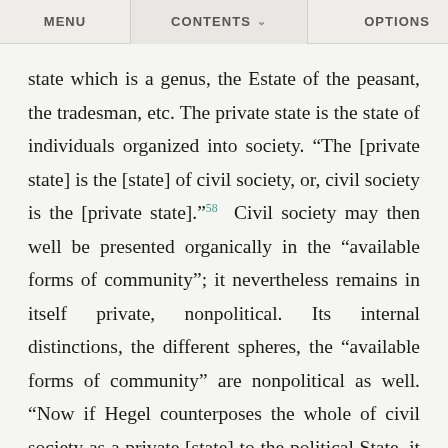MENU   CONTENTS   OPTIONS
state which is a genus, the Estate of the peasant, the tradesman, etc. The private state is the state of individuals organized into society. “The [private state] is the [state] of civil society, or, civil society is the [private state].”⁵⁸ Civil society may then well be presented organically in the “available forms of community”; it nevertheless remains in itself private, nonpolitical. Its internal distinctions, the different spheres, the “available forms of community” are nonpolitical as well. “Now if Hegel counterposes the whole of civil society as a private [state] to the political State, it inevitably follows that all distinctions within the private [state], i.e. the various classes of citizens, have only a private significance in